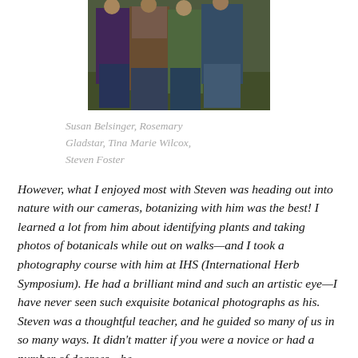[Figure (photo): Photograph of four people standing outdoors: Susan Belsinger, Rosemary Gladstar, Tina Marie Wilcox, Steven Foster]
Susan Belsinger, Rosemary Gladstar, Tina Marie Wilcox, Steven Foster
However, what I enjoyed most with Steven was heading out into nature with our cameras, botanizing with him was the best! I learned a lot from him about identifying plants and taking photos of botanicals while out on walks—and I took a photography course with him at IHS (International Herb Symposium). He had a brilliant mind and such an artistic eye—I have never seen such exquisite botanical photographs as his. Steven was a thoughtful teacher, and he guided so many of us in so many ways. It didn't matter if you were a novice or had a number of degrees—he